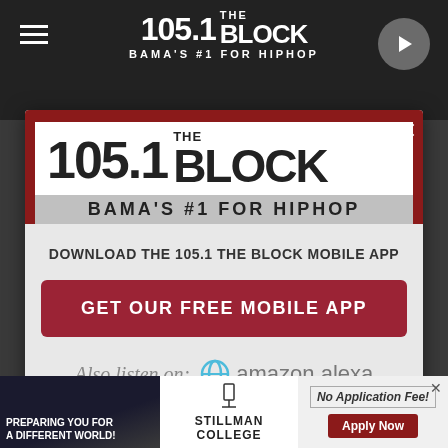[Figure (screenshot): Top banner of 105.1 The Block radio station website with dark background, hamburger menu, station logo text and play button]
[Figure (logo): 105.1 The Block - Bama's #1 For HipHop logo in modal popup with red/white/gray design]
DOWNLOAD THE 105.1 THE BLOCK MOBILE APP
GET OUR FREE MOBILE APP
Also listen on: amazon alexa
[Figure (screenshot): Advertisement banner for Stillman College - Preparing You For A Different World with No Application Fee and Apply Now button]